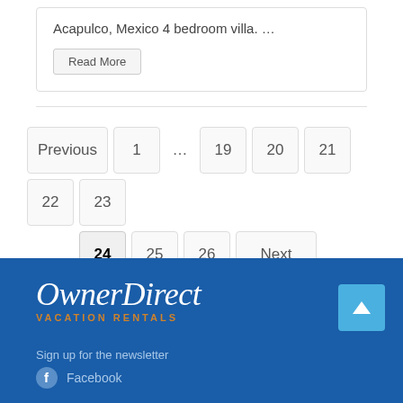Acapulco, Mexico 4 bedroom villa. …
Read More
Previous 1 … 19 20 21 22 23 24 25 26 Next
[Figure (logo): OwnerDirect Vacation Rentals logo in white on blue background]
Sign up for the newsletter
Facebook